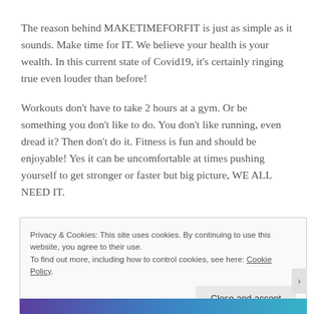The reason behind MAKETIMEFORFIT is just as simple as it sounds. Make time for IT. We believe your health is your wealth. In this current state of Covid19, it's certainly ringing true even louder than before!
Workouts don't have to take 2 hours at a gym. Or be something you don't like to do. You don't like running, even dread it? Then don't do it. Fitness is fun and should be enjoyable! Yes it can be uncomfortable at times pushing yourself to get stronger or faster but big picture, WE ALL NEED IT.
Privacy & Cookies: This site uses cookies. By continuing to use this website, you agree to their use.
To find out more, including how to control cookies, see here: Cookie Policy